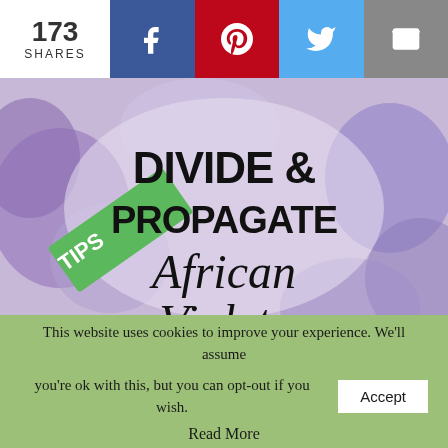173 SHARES
[Figure (screenshot): Social share bar with Facebook, Pinterest, Twitter, and Email buttons]
[Figure (photo): Gardening tips image with text 'DIVIDE & PROPAGATE African Violets' on a blurred purple flower background with a green 'TIPS' banner in the corner]
This website uses cookies to improve your experience. We'll assume you're ok with this, but you can opt-out if you wish. Accept
Read More